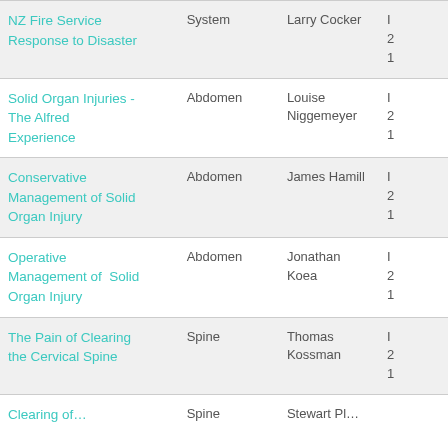| Title | Category | Speaker | Info |
| --- | --- | --- | --- |
| NZ Fire Service Response to Disaster | System | Larry Cocker | I… 2… 1… |
| Solid Organ Injuries - The Alfred Experience | Abdomen | Louise Niggemeyer | I… 2… 1… |
| Conservative Management of Solid Organ Injury | Abdomen | James Hamill | I… 2… 1… |
| Operative Management of Solid Organ Injury | Abdomen | Jonathan Koea | I… 2… 1… |
| The Pain of Clearing the Cervical Spine | Spine | Thomas Kossman | I… 2… 1… |
| Clearing of… | Spine | Stewart Pl… |  |